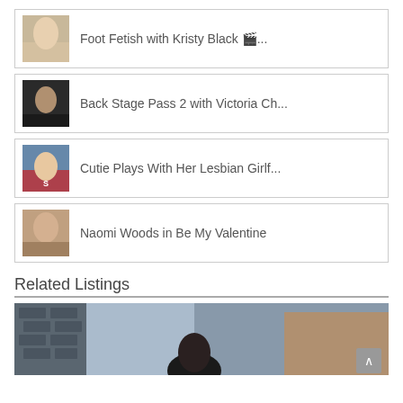Foot Fetish with Kristy Black 🎬...
Back Stage Pass 2 with Victoria Ch...
Cutie Plays With Her Lesbian Girlf...
Naomi Woods in Be My Valentine
Related Listings
[Figure (photo): Bottom portion of a related listing image showing an indoor scene with a person, brick wall and gym equipment visible]